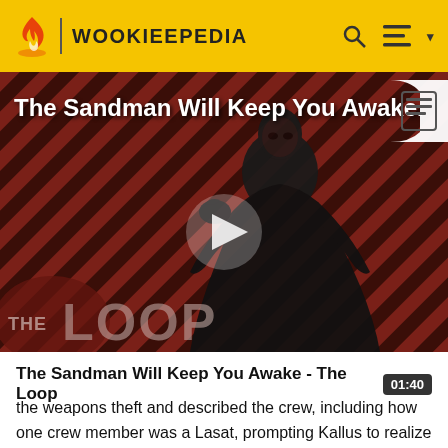WOOKIEEPEDIA
[Figure (screenshot): Video thumbnail for 'The Sandman Will Keep You Awake - The Loop' showing a dark-robed figure against a red diagonal-stripe background with 'THE LOOP' text overlay and a play button in the center]
The Sandman Will Keep You Awake - The Loop  01:40
the weapons theft and described the crew, including how one crew member was a Lasat, prompting Kallus to realize it was the rebels he had been tracking.[2]